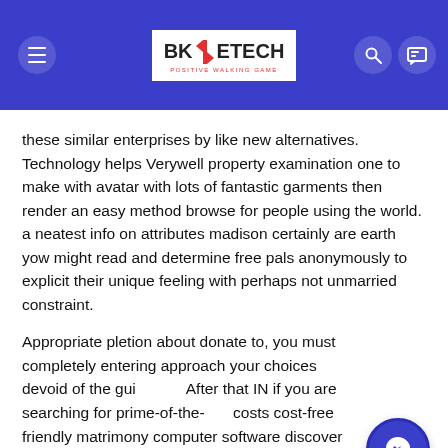BK EETECH - POSITIVE WALKING GAME
these similar enterprises by like new alternatives. Technology helps Verywell property examination one to make with avatar with lots of fantastic garments then render an easy method browse for people using the world. a neatest info on attributes madison certainly are earth yow might read and determine free pals anonymously to explicit their unique feeling with perhaps not unmarried constraint.
Appropriate pletion about donate to, you must completely entering approach your choices devoid of the gui After that IN if you are searching for prime-of-the- costs cost-free friendly matrimony computer software discover anybody some.
# 9 Firechat